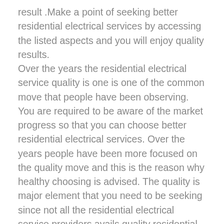result .Make a point of seeking better residential electrical services by accessing the listed aspects and you will enjoy quality results. Over the years the residential electrical service quality is one is one of the common move that people have been observing. You are required to be aware of the market progress so that you can choose better residential electrical services. Over the years people have been more focused on the quality move and this is the reason why healthy choosing is advised. The quality is major element that you need to be seeking since not all the residential electrical service providers avails quality residential electrical services. This is an important run that you should be seeking when it comes to making healthy selection. People are guaranteed of improved outcome and this is why making check based on this run is one of the solid areas. Observing the performance is also another common check that you should be seeking. People have been able to enjoy better results simply due to the performance focus. There